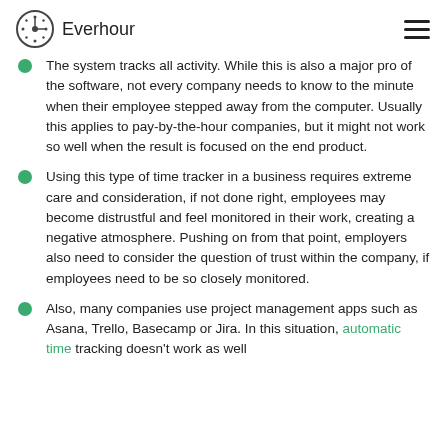Everhour
The system tracks all activity. While this is also a major pro of the software, not every company needs to know to the minute when their employee stepped away from the computer. Usually this applies to pay-by-the-hour companies, but it might not work so well when the result is focused on the end product.
Using this type of time tracker in a business requires extreme care and consideration, if not done right, employees may become distrustful and feel monitored in their work, creating a negative atmosphere. Pushing on from that point, employers also need to consider the question of trust within the company, if employees need to be so closely monitored.
Also, many companies use project management apps such as Asana, Trello, Basecamp or Jira. In this situation, automatic time tracking doesn't work as well